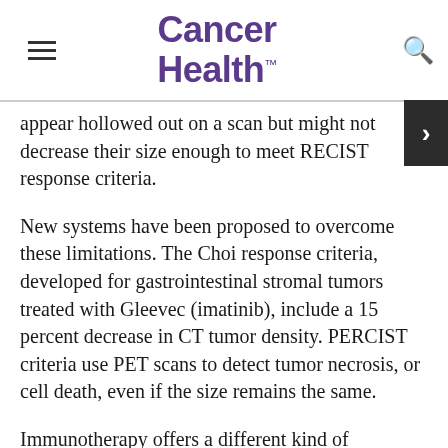Cancer Health
appear hollowed out on a scan but might not decrease their size enough to meet RECIST response criteria.
New systems have been proposed to overcome these limitations. The Choi response criteria, developed for gastrointestinal stromal tumors treated with Gleevec (imatinib), include a 15 percent decrease in CT tumor density. PERCIST criteria use PET scans to detect tumor necrosis, or cell death, even if the size remains the same.
Immunotherapy offers a different kind of challenge: Checkpoint inhibitor drugs take the brakes off T-cell activity, resulting in inflammation that can sometimes resemble disease progression on scans. This presents a dilemma for clinical trial protocols that call for treatment to stop when progression occurs.